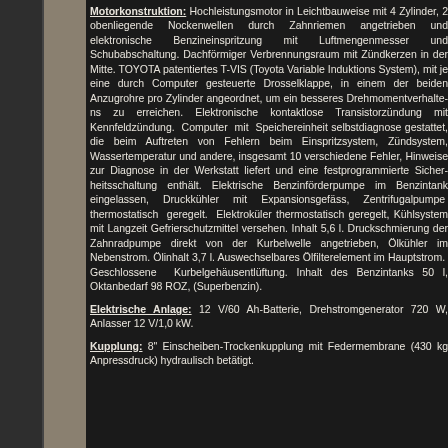Motorkonstruktion: Hochleistungsmotor in Leichtbauweise mit 4 Zylinder, 2 obenliegende Nockenwellen durch Zahnriemen angetrieben und elektronische Benzineinspritzung mit Luftmengenmesser und Schubabschaltung. Dachförmiger Verbrennungsraum mit Zündkerzen in der Mitte. TOYOTA patentiertes T-VIS (Toyota Variable Induktions System), mit je eine durch Computer gesteuerte Drosselklappe, in einem der beiden Anzugrohre pro Zylinder angeordnet, um ein besseres Drehmomentverhaltens zu erreichen. Elektronische kontaktlose Transistorzündung mit Kennfeldzündung. Computer mit Speichereinheit selbstdiagnose gestattet, die beim Auftreten von Fehlern beim Einspritzsystem, Zündsystem, Wassertemperatur und andere, insgesamt 10 verschiedene Fehler, Hinweise zur Diagnose in der Werkstatt liefert und eine festprogrammierte Sicherheitsschaltung enthält. Elektrische Benzinförderpumpe im Benzintank eingelassen, Druckkühler mit Expansionsgefäss, Zentrifugalpumpe thermostatisch geregelt. Elektrokühler thermostatisch geregelt, Kühlsystem mit Langzeit Gefrierschutzmittel versehen. Inhalt 5,6 l. Druckschmierung der Zahnradpumpe direkt von der Kurbelwelle angetrieben, Ölkühler im Nebenstrom. Ölinhalt 3,7 l. Auswechselbares Ölfilterelement im Hauptstrom. Geschlossene Kurbelgehäuseentlüftung. Inhalt des Benzintanks 50 l, Oktanbedarf 98 ROZ, (Superbenzin).
Elektrische Anlage: 12 V/60 Ah-Batterie, Drehstromgenerator 720 W, Anlasser 12 V/1,0 kW.
Kupplung: 8" Einscheiben-Trockenkupplung mit Federmembrane (430 kg Anpressdruck) hydraulisch betätigt.